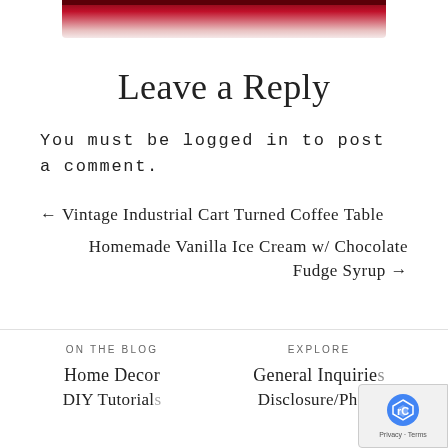[Figure (photo): Top strip showing partial red decorative image]
Leave a Reply
You must be logged in to post a comment.
← Vintage Industrial Cart Turned Coffee Table
Homemade Vanilla Ice Cream w/ Chocolate Fudge Syrup →
ON THE BLOG
Home Decor
DIY Tutorial

EXPLORE
General Inquiries
Disclosure/Photo